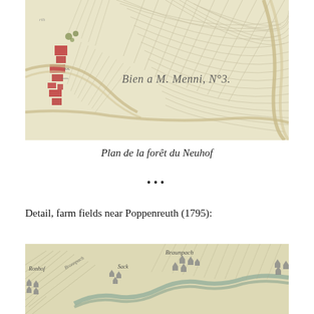[Figure (map): Historical cadastral map excerpt showing farm fields and estate parcels near Neuhof. Cream/beige background with hatched field lines, a winding road or path, and red-colored building outlines on the left. Cursive inscription reads 'Bien a M. Menni No 3.' in the center.]
Plan de la forêt du Neuhof
•••
Detail, farm fields near Poppenreuth (1795):
[Figure (map): Historical map detail showing farm fields near Poppenreuth, 1795. Beige/cream background with hatched fields, a winding river or stream, and small illustrated buildings representing settlements labeled Ronhof, Sack, Braunpach, and partially visible others.]